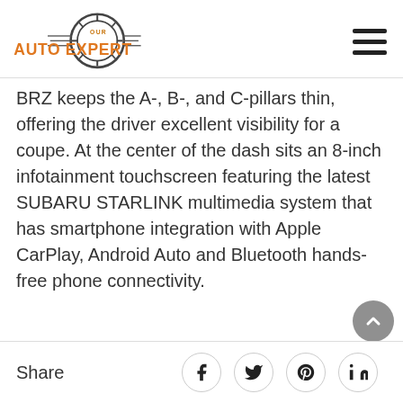[Figure (logo): Our Auto Expert logo with orange text and circular gear/wheel graphic]
BRZ keeps the A-, B-, and C-pillars thin, offering the driver excellent visibility for a coupe. At the center of the dash sits an 8-inch infotainment touchscreen featuring the latest SUBARU STARLINK multimedia system that has smartphone integration with Apple CarPlay, Android Auto and Bluetooth hands-free phone connectivity.
Share [Facebook] [Twitter] [Pinterest] [LinkedIn]